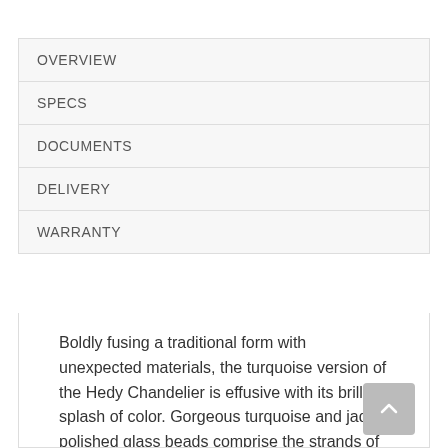OVERVIEW
SPECS
DOCUMENTS
DELIVERY
WARRANTY
Boldly fusing a traditional form with unexpected materials, the turquoise version of the Hedy Chandelier is effusive with its brilliant splash of color. Gorgeous turquoise and jade-polished glass beads comprise the strands of this empire style fixture, a dynamic look for interiors from traditional to transitional and contemporary to shabby